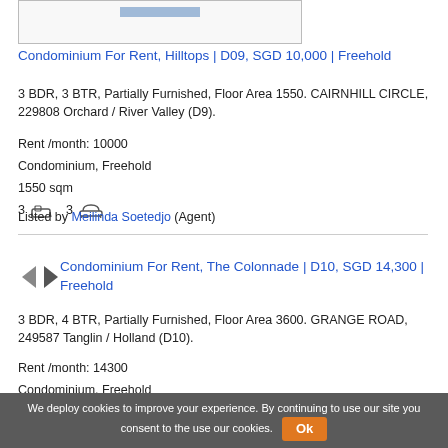[Figure (photo): Property listing image placeholder with blue bar at top]
Condominium For Rent, Hilltops | D09, SGD 10,000 | Freehold
3 BDR, 3 BTR, Partially Furnished, Floor Area 1550. CAIRNHILL CIRCLE, 229808 Orchard / River Valley (D9).
Rent /month: 10000
Condominium, Freehold
1550 sqm
3 🛏  3 🛁
Listed by Meilinda Soetedjo (Agent)
[Figure (illustration): Navigation arrows (left and right) for image carousel]
Condominium For Rent, The Colonnade | D10, SGD 14,300 | Freehold
3 BDR, 4 BTR, Partially Furnished, Floor Area 3600. GRANGE ROAD, 249587 Tanglin / Holland (D10).
Rent /month: 14300
Condominium, Freehold
3600 sqm
We deploy cookies to improve your experience. By continuing to use our site you consent to the use our cookies.  Ok